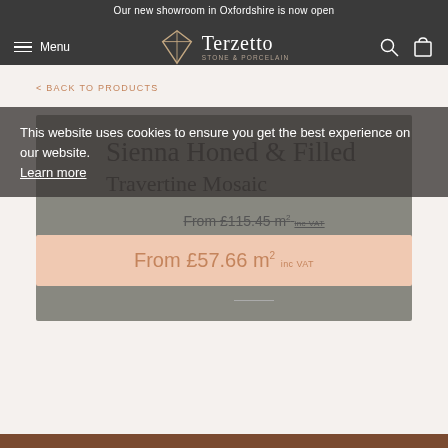Our new showroom in Oxfordshire is now open
[Figure (logo): Terzetto Stone & Porcelain logo with diamond geometric icon]
< BACK TO PRODUCTS
Sienna Honed & Filled Travertine Mosaic
From £115.45 m² inc VAT
From £57.66 m² inc VAT
This website uses cookies to ensure you get the best experience on our website. Learn more